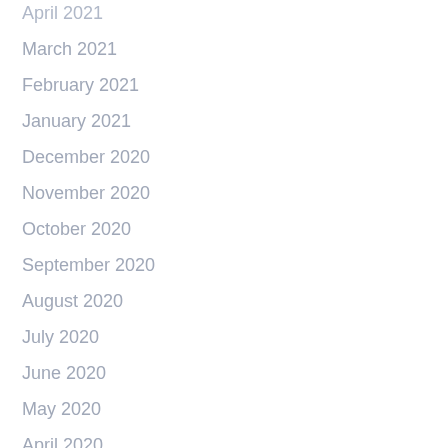April 2021
March 2021
February 2021
January 2021
December 2020
November 2020
October 2020
September 2020
August 2020
July 2020
June 2020
May 2020
April 2020
March 2020
February 2020
January 2020
December 2019
October 2019
September 2019